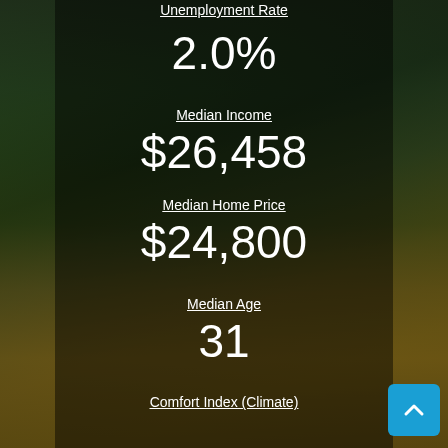Unemployment Rate
2.0%
Median Income
$26,458
Median Home Price
$24,800
Median Age
31
Comfort Index (Climate)